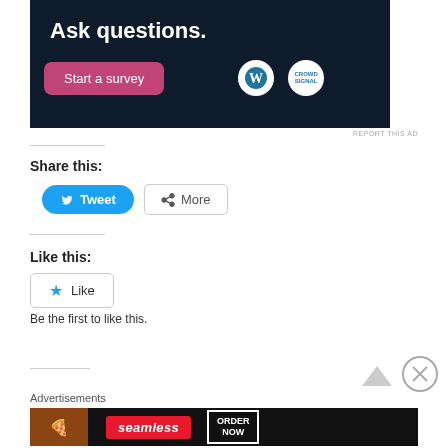[Figure (screenshot): Advertisement banner with dark navy background showing 'Ask questions.' heading, a pink 'Start a survey' button, and WordPress and CrowdSignal logos]
REPORT THIS AD
Share this:
[Figure (screenshot): Tweet button (blue, rounded) and More button (outline) for sharing]
Like this:
[Figure (screenshot): Like button with blue star icon]
Be the first to like this.
Advertisements
[Figure (screenshot): Seamless food delivery advertisement banner with pizza image, seamless logo, and ORDER NOW button]